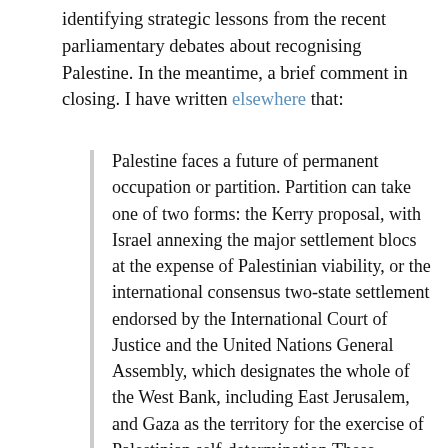identifying strategic lessons from the recent parliamentary debates about recognising Palestine. In the meantime, a brief comment in closing. I have written elsewhere that:
Palestine faces a future of permanent occupation or partition. Partition can take one of two forms: the Kerry proposal, with Israel annexing the major settlement blocs at the expense of Palestinian viability, or the international consensus two-state settlement endorsed by the International Court of Justice and the United Nations General Assembly, which designates the whole of the West Bank, including East Jerusalem, and Gaza as the territory for the exercise of Palestinian self-determination.These alternatives exhaust the realms of political possibility, and a defeat for one is a gain for the others. Except among certain academics and BDS activists, the demand for dismantling Israel has